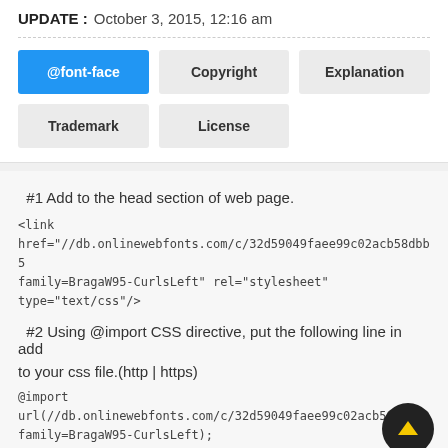UPDATE : October 3, 2015, 12:16 am
[Figure (screenshot): Tab buttons: @font-face (active/blue), Copyright, Explanation, Trademark, License]
#1 Add to the head section of web page.
<link href="//db.onlinewebfonts.com/c/32d59049faee99c02acb58dbb5... family=BragaW95-CurlsLeft" rel="stylesheet" type="text/css"/>
#2 Using @import CSS directive, put the following line in add to your css file.(http | https)
@import url(//db.onlinewebfonts.com/c/32d59049faee99c02acb58dbb53... family=BragaW95-CurlsLeft);